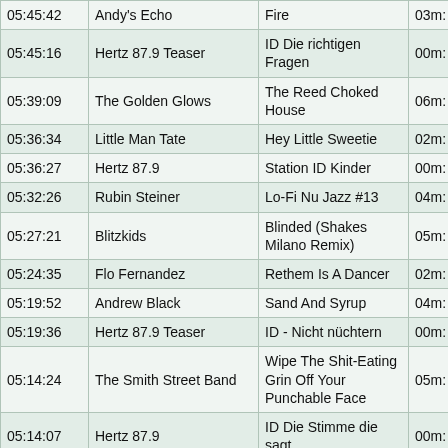| Time | Artist | Title | Duration |
| --- | --- | --- | --- |
| 05:45:42 | Andy's Echo | Fire | 03m: |
| 05:45:16 | Hertz 87.9 Teaser | ID Die richtigen Fragen | 00m: |
| 05:39:09 | The Golden Glows | The Reed Choked House | 06m: |
| 05:36:34 | Little Man Tate | Hey Little Sweetie | 02m: |
| 05:36:27 | Hertz 87.9 | Station ID Kinder | 00m: |
| 05:32:26 | Rubin Steiner | Lo-Fi Nu Jazz #13 | 04m: |
| 05:27:21 | Blitzkids | Blinded (Shakes Milano Remix) | 05m: |
| 05:24:35 | Flo Fernandez | Rethem Is A Dancer | 02m: |
| 05:19:52 | Andrew Black | Sand And Syrup | 04m: |
| 05:19:36 | Hertz 87.9 Teaser | ID - Nicht nüchtern | 00m: |
| 05:14:24 | The Smith Street Band | Wipe The Shit-Eating Grin Off Your Punchable Face | 05m: |
| 05:14:07 | Hertz 87.9 | ID Die Stimme die sagt | 00m: |
| 05:09:36 | Web Web x Max Herre | Akinuba / The Heart (feat. Yusef Lateef) | 04m: |
| 05:03:52 | Juliane Wolf | Lights Of Abu Dhabi | 05m: |
| 05:00:26 | Middle Kids | Salt Eyes | 03m: |
| 04:59:56 | Hertz 87.9 | Zeitansage 5 Uhr Wir schlafen niemals | 00m: |